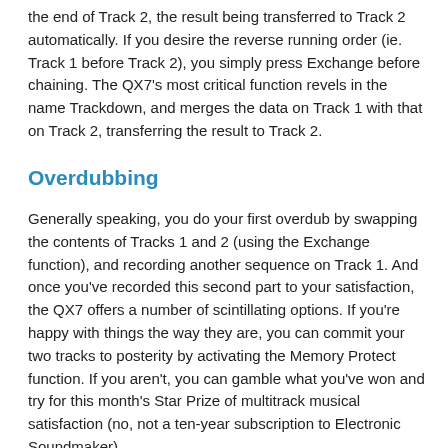the end of Track 2, the result being transferred to Track 2 automatically. If you desire the reverse running order (ie. Track 1 before Track 2), you simply press Exchange before chaining. The QX7's most critical function revels in the name Trackdown, and merges the data on Track 1 with that on Track 2, transferring the result to Track 2.
Overdubbing
Generally speaking, you do your first overdub by swapping the contents of Tracks 1 and 2 (using the Exchange function), and recording another sequence on Track 1. And once you've recorded this second part to your satisfaction, the QX7 offers a number of scintillating options. If you're happy with things the way they are, you can commit your two tracks to posterity by activating the Memory Protect function. If you aren't, you can gamble what you've won and try for this month's Star Prize of multitrack musical satisfaction (no, not a ten-year subscription to Electronic Soundmaker).